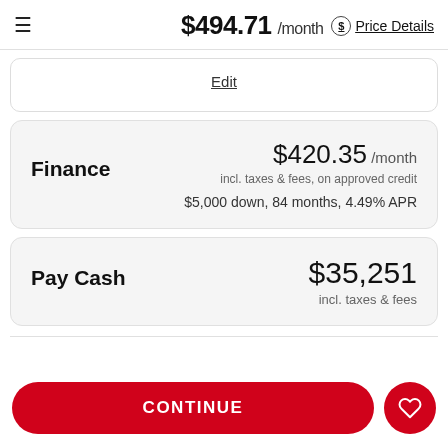$494.71 /month Price Details
Edit
Finance $420.35 /month incl. taxes & fees, on approved credit $5,000 down, 84 months, 4.49% APR
Pay Cash $35,251 incl. taxes & fees
CONTINUE